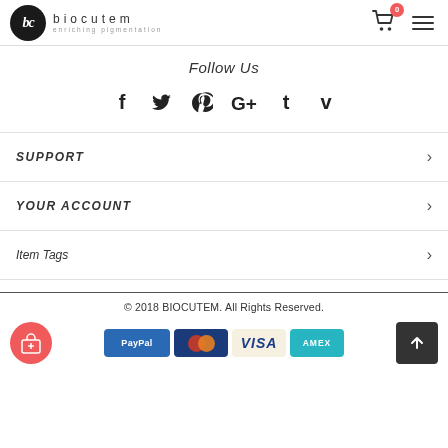biocutem — enriching pigmentation
Follow Us
[Figure (infographic): Social media icons row: Facebook, Twitter, Pinterest, Google+, Tumblr, Vimeo]
SUPPORT >
YOUR ACCOUNT >
Item Tags >
© 2018 BIOCUTEM. All Rights Reserved. Payment logos: PayPal, Mastercard, Visa, AMEX